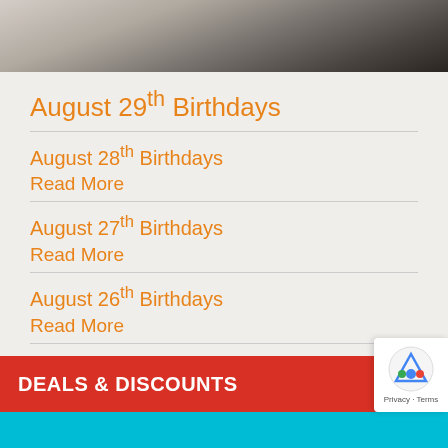[Figure (photo): Partial photo of people at top of page]
August 29th Birthdays
August 28th Birthdays
Read More
August 27th Birthdays
Read More
August 26th Birthdays
Read More
View More Stories ❯
DEALS & DISCOUNTS